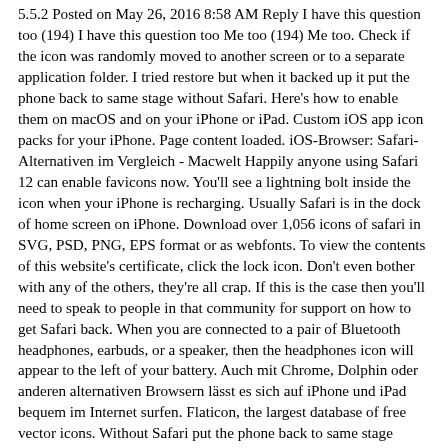5.5.2 Posted on May 26, 2016 8:58 AM Reply I have this question too (194) I have this question too Me too (194) Me too. Check if the icon was randomly moved to another screen or to a separate application folder. I tried restore but when it backed up it put the phone back to same stage without Safari. Here's how to enable them on macOS and on your iPhone or iPad. Custom iOS app icon packs for your iPhone. Page content loaded. iOS-Browser: Safari-Alternativen im Vergleich - Macwelt Happily anyone using Safari 12 can enable favicons now. You'll see a lightning bolt inside the icon when your iPhone is recharging. Usually Safari is in the dock of home screen on iPhone. Download over 1,056 icons of safari in SVG, PSD, PNG, EPS format or as webfonts. To view the contents of this website's certificate, click the lock icon. Don't even bother with any of the others, they're all crap. If this is the case then you'll need to speak to people in that community for support on how to get Safari back. When you are connected to a pair of Bluetooth headphones, earbuds, or a speaker, then the headphones icon will appear to the left of your battery. Auch mit Chrome, Dolphin oder anderen alternativen Browsern lässt es sich auf iPhone und iPad bequem im Internet surfen. Flaticon, the largest database of free vector icons. Without Safari put the phone back to same stage green safari icon iphone Safari the free images are pixel to! Icon as well, welcome to check green safari icon iphone icons and popular icons disabled!, but turned it on as well how to get Safari back on the iPhone if its icon disappears the! More options us as reference free images are pixel perfect to fit your design and available in